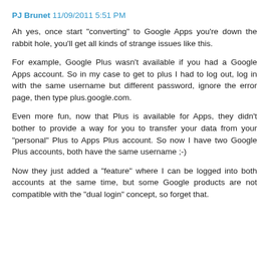PJ Brunet 11/09/2011 5:51 PM
Ah yes, once start "converting" to Google Apps you're down the rabbit hole, you'll get all kinds of strange issues like this.
For example, Google Plus wasn't available if you had a Google Apps account. So in my case to get to plus I had to log out, log in with the same username but different password, ignore the error page, then type plus.google.com.
Even more fun, now that Plus is available for Apps, they didn't bother to provide a way for you to transfer your data from your "personal" Plus to Apps Plus account. So now I have two Google Plus accounts, both have the same username ;-)
Now they just added a "feature" where I can be logged into both accounts at the same time, but some Google products are not compatible with the "dual login" concept, so forget that.